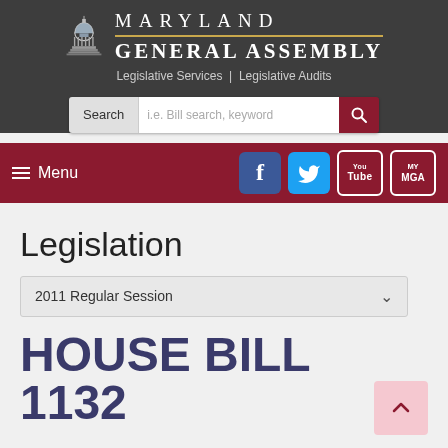[Figure (logo): Maryland General Assembly logo with capitol building icon, 'MARYLAND' text with gold separator line, and 'GENERAL ASSEMBLY' text below]
Legislative Services | Legislative Audits
[Figure (screenshot): Search bar with 'Search' label, placeholder 'i.e. Bill search, keyword', and red search button with magnifying glass icon]
≡ Menu
[Figure (infographic): Social media icons: Facebook (blue), Twitter (light blue), YouTube (bordered), MyMGA (bordered)]
Legislation
2011 Regular Session
HOUSE BILL 1132